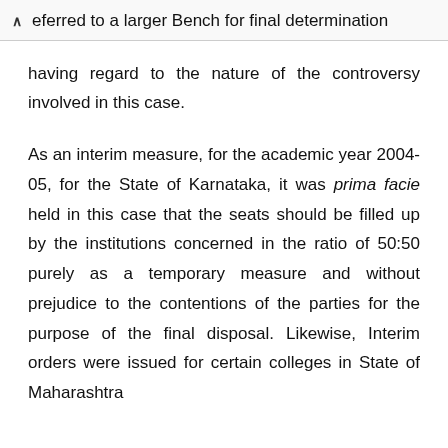eferred to a larger Bench for final determination having regard to the nature of the controversy involved in this case.
As an interim measure, for the academic year 2004-05, for the State of Karnataka, it was prima facie held in this case that the seats should be filled up by the institutions concerned in the ratio of 50:50 purely as a temporary measure and without prejudice to the contentions of the parties for the purpose of the final disposal. Likewise, Interim orders were issued for certain colleges in State of Maharashtra